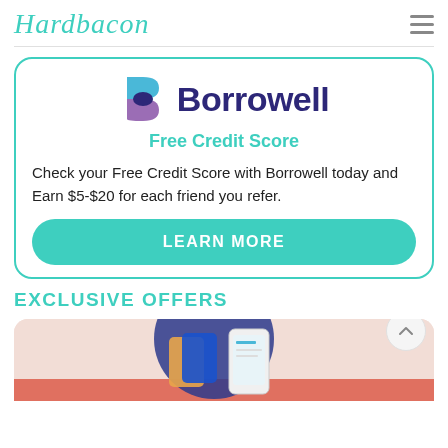Hardbacon
[Figure (logo): Borrowell logo with stylized B icon in blue/purple and the word Borrowell in dark navy bold font, with Free Credit Score subtitle in teal]
Check your Free Credit Score with Borrowell today and Earn $5-$20 for each friend you refer.
EXCLUSIVE OFFERS
[Figure (photo): Photo of credit cards in a wallet holder and a smartphone, displayed on a peach/terracotta background with a dark blue circular backdrop element]